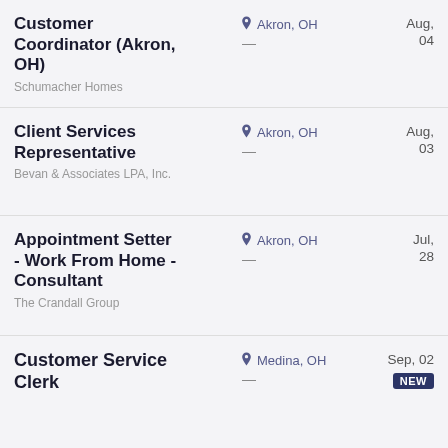Customer Coordinator (Akron, OH)
Schumacher Homes
Akron, OH
Aug, 04
Client Services Representative
Bevan & Associates LPA, Inc.
Akron, OH
Aug, 03
Appointment Setter - Work From Home - Consultant
The Crandall Group
Akron, OH
Jul, 28
Customer Service Clerk
Medina, OH
Sep, 02
NEW